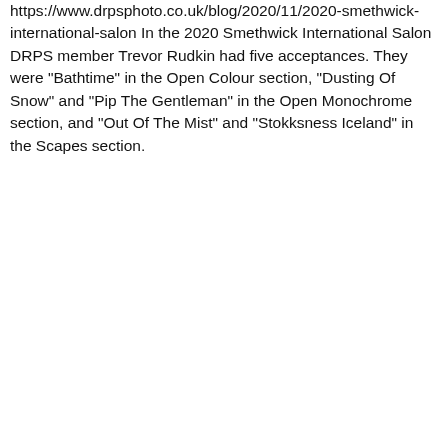https://www.drpsphoto.co.uk/blog/2020/11/2020-smethwick-international-salon In the 2020 Smethwick International Salon DRPS member Trevor Rudkin had five acceptances. They were "Bathtime" in the Open Colour section, "Dusting Of Snow" and "Pip The Gentleman" in the Open Monochrome section, and "Out Of The Mist" and "Stokksness Iceland" in the Scapes section.